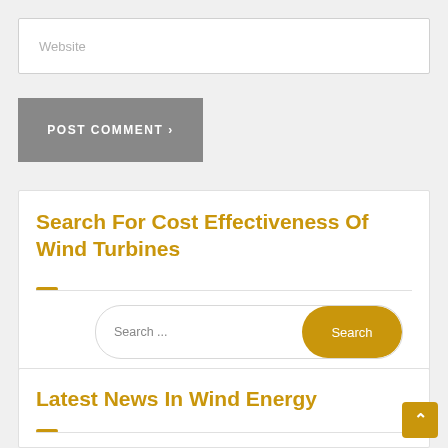Website
POST COMMENT >
Search For Cost Effectiveness Of Wind Turbines
Search ...
Latest News In Wind Energy